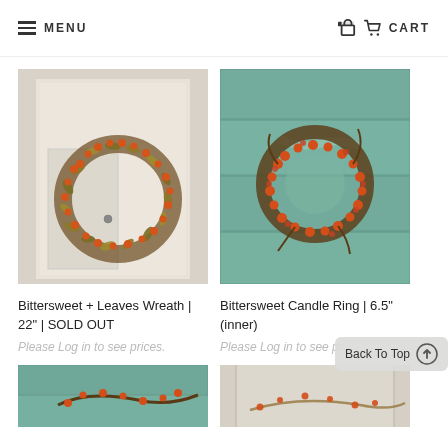MENU   CART
[Figure (photo): Bittersweet and leaves wreath hanging on a white distressed cabinet door]
[Figure (photo): Bittersweet candle ring on a teal/green painted wood plank background]
Bittersweet + Leaves Wreath | 22" | SOLD OUT
Bittersweet Candle Ring | 6.5" (inner)
Please Log in to see prices.
Please Log in to see pr...
[Figure (photo): Partial bottom-left product photo on teal background]
[Figure (photo): Partial bottom-right product photo on wood background]